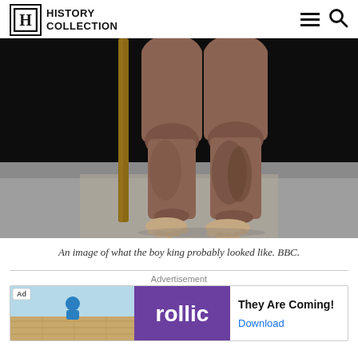HISTORY COLLECTION
[Figure (photo): Close-up photograph of bare human legs and feet standing on a grey surface next to a wooden cane/staff, against a dark background. Intended to depict a reconstruction of Tutankhamun's likely physical appearance.]
An image of what the boy king probably looked like. BBC.
Advertisement
[Figure (screenshot): Advertisement banner for 'rollic' game app. Shows 'Ad' badge, purple logo with 'rollic' text, headline 'They Are Coming!' and a 'Download' link in blue.]